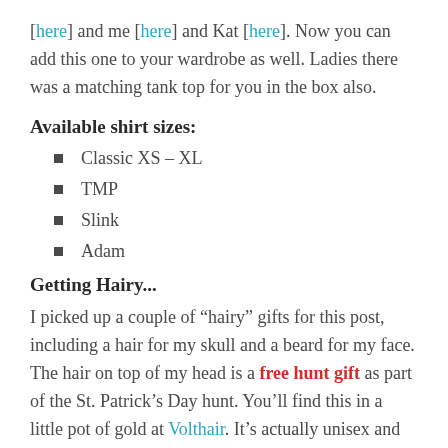[here] and me [here] and Kat [here]. Now you can add this one to your wardrobe as well. Ladies there was a matching tank top for you in the box also.
Available shirt sizes:
Classic XS – XL
TMP
Slink
Adam
Getting Hairy...
I picked up a couple of “hairy” gifts for this post, including a hair for my skull and a beard for my face. The hair on top of my head is a free hunt gift as part of the St. Patrick’s Day hunt. You’ll find this in a little pot of gold at Volthair. It’s actually unisex and includes the needed hairbases for various mesh heads. It’s a long over the